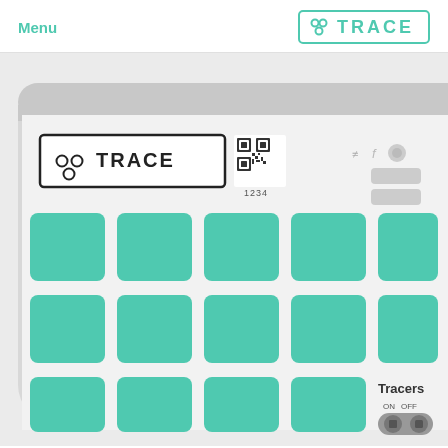Menu | TRACE
[Figure (illustration): Illustration of a TRACE device (keypad/controller) with teal/green buttons arranged in a 5x3 grid, a QR code showing '1234', a Tracers ON/OFF toggle switch at the bottom right, and a cable connector plugged into the right side of the device. The device has a white rounded rectangular body.]